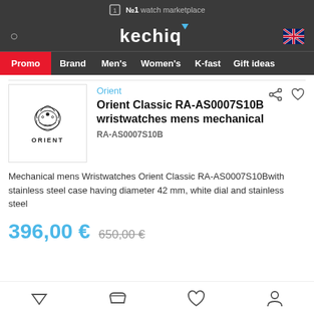№1 watch marketplace
kechiq — Promo Brand Men's Women's K-fast Gift ideas
[Figure (logo): Orient brand logo with decorative emblem and ORIENT text]
Orient
Orient Classic RA-AS0007S10B wristwatches mens mechanical
RA-AS0007S10B
Mechanical mens Wristwatches Orient Classic RA-AS0007S10Bwith stainless steel case having diameter 42 mm, white dial and stainless steel
396,00 € 650,00 €
Bottom navigation icons: filter, cart, wishlist, account